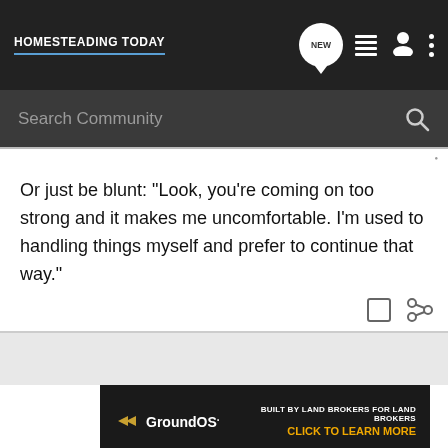HOMESTEADING TODAY
Search Community
Or just be blunt: "Look, you're coming on too strong and it makes me uncomfortable. I'm used to handling things myself and prefer to continue that way."
[Figure (screenshot): GroundOS advertisement banner: Built by land brokers for land brokers. Click to learn more.]